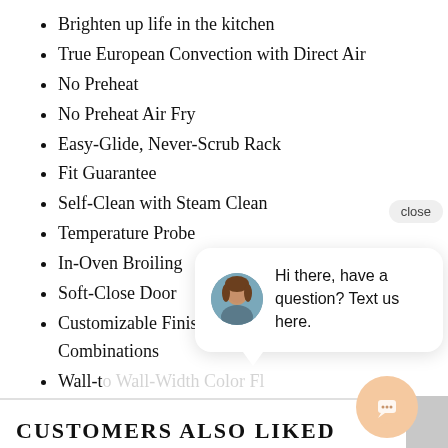Brighten up life in the kitchen
True European Convection with Direct Air
No Preheat
No Preheat Air Fry
Easy-Glide, Never-Scrub Rack
Fit Guarantee
Self-Clean with Steam Clean
Temperature Probe
In-Oven Broiling
Soft-Close Door
Customizable Finishes and Hardware Combinations
Wall-t[o Wall-Width Color Fl…]
[Figure (screenshot): Chat popup overlay with close button and avatar of a woman, showing message: Hi there, have a question? Text us here.]
[Figure (other): Chat FAB icon button (peach/orange circle with speech bubble icon)]
CUSTOMERS ALSO LIKED